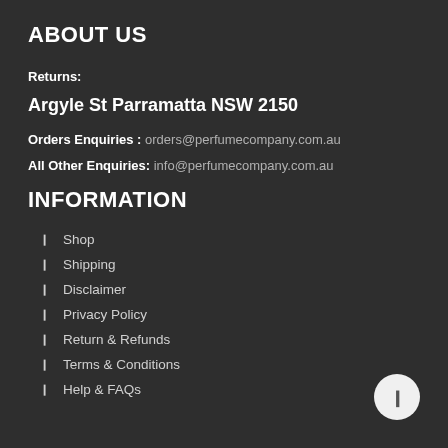ABOUT US
Returns:
Argyle St Parramatta NSW 2150
Orders Enquiries : orders@perfumecompany.com.au
All Other Enquiries: info@perfumecompany.com.au
INFORMATION
Shop
Shipping
Disclaimer
Privacy Policy
Return & Refunds
Terms & Conditions
Help & FAQs